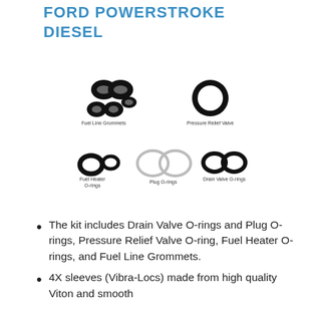FORD POWERSTROKE DIESEL
[Figure (illustration): Diagram of o-ring kit components: Fuel Line Grommets (several black grommets), Pressure Relief Valve (large black o-ring), Fuel Heater O-rings (two black o-rings), Plug O-rings (two white/clear o-rings), Drain Valve O-rings (two black o-rings). Each group is labeled beneath.]
The kit includes Drain Valve O-rings and Plug O-rings, Pressure Relief Valve O-ring, Fuel Heater O-rings, and Fuel Line Grommets.
4X sleeves (Vibra-Locs) made from high quality Viton and smooth...